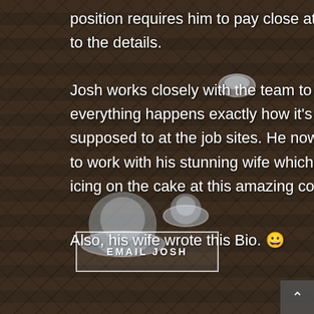[Figure (photo): Aerial/close-up photo of a dark brown asphalt shingle roof with multiple skylight or roof vent domes visible. The background is dim/dark with the roofing texture filling the entire frame.]
position requires him to pay close attention to the details.

Josh works closely with the team to ensure everything happens exactly how it's supposed to at the job sites. He now gets to work with his stunning wife which is just icing on the cake at this amazing company.
Also, his wife wrote this Bio. 😊
EMAIL JOSH